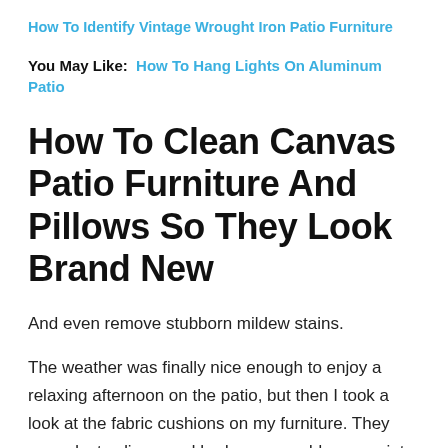How To Identify Vintage Wrought Iron Patio Furniture
You May Like:  How To Hang Lights On Aluminum Patio
How To Clean Canvas Patio Furniture And Pillows So They Look Brand New
And even remove stubborn mildew stains.
The weather was finally nice enough to enjoy a relaxing afternoon on the patio, but then I took a look at the fabric cushions on my furniture. They were dusty, dingy, and had some muddy paw prints and the droppings of errant birds.